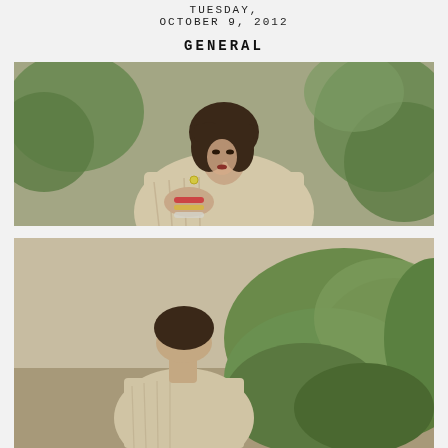TUESDAY, OCTOBER 9, 2012
GENERAL
[Figure (photo): Young woman with dark hair and bangs wearing a chunky knit sweater and multiple bracelets, posed thoughtfully against a green leafy background, portrait style.]
[Figure (photo): Outdoor scene showing a person in a knit sweater with greenery and a light-colored wall in the background, partial view.]